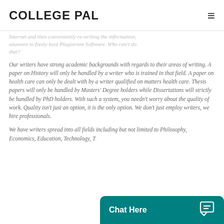COLLEGE PAL
Internet and then conveniently re-writing the information, unaware to freely beat Plagiarism Software. Who can't do that?
Our writers have strong academic backgrounds with regards to their areas of writing. A paper on History will only be handled by a writer who is trained in that field. A paper on health care can only be dealt with by a writer qualified on matters health care. Thesis papers will only be handled by Masters' Degree holders while Dissertations will strictly be handled by PhD holders. With such a system, you needn't worry about the quality of work. Quality isn't just an option, it is the only option. We don't just employ writers, we hire professionals.
We have writers spread into all fields including but not limited to Philosophy, Economics, Education, Technology, T